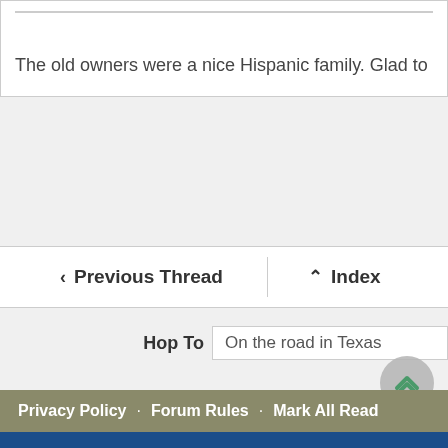The old owners were a nice Hispanic family. Glad to hear the
‹ Previous Thread
∧ Index
Hop To  On the road in Texas
Privacy Policy · Forum Rules · Mark All Read
[Figure (screenshot): Advertisement banner for MORITZ CHE... Does NOT charge...]